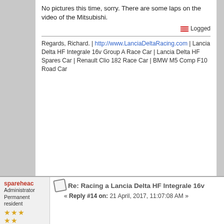No pictures this time, sorry. There are some laps on the video of the Mitsubishi.
Logged
Regards, Richard. | http://www.LanciaDeltaRacing.com | Lancia Delta HF Integrale 16v Group A Race Car | Lancia Delta HF Spares Car | Renault Clio 182 Race Car | BMW M5 Comp F10 Road Car
Re: Racing a Lancia Delta HF Integrale 16v
« Reply #14 on: 21 April, 2017, 11:07:08 AM »
Quote from: Thurbs on 20 April, 2017, 02:29:38 PM
Great. Let me know closer to the time and I can send you a ticket for free entry over the weekend. Anyone else who wants a tickets to any other events, please get in touch. I usually get between four and eight for a weekend. I need two myself but usually have some spare.
That's wonderful  - thanks very much and I'll look forward to it
https://castlecombecircuit.co.uk/race-days/cscc-august-weekender/12/8/2017/ - noted the link here
Logged
Regards,